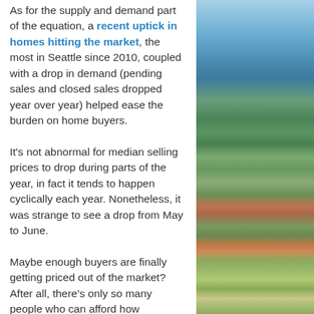As for the supply and demand part of the equation, a recent uptick in homes hitting the market, the most in Seattle since 2010, coupled with a drop in demand (pending sales and closed sales dropped year over year) helped ease the burden on home buyers.
It's not abnormal for median selling prices to drop during parts of the year, in fact it tends to happen cyclically each year. Nonetheless, it was strange to see a drop from May to June.
Maybe enough buyers are finally getting priced out of the market? After all, there's only so many people who can afford how expensive a typical Seattle home has gotten. Maybe the rising
[Figure (photo): Aerial photograph of Seattle residential neighborhood with trees showing autumn colors, waterway visible in background, blue sky above.]